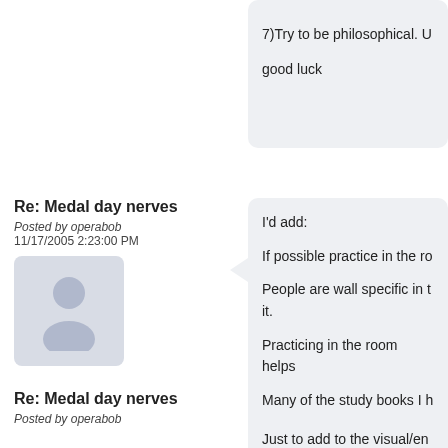7)Try to be philosophical. U

good luck
Re: Medal day nerves
Posted by operabob
11/17/2005  2:23:00 PM
[Figure (illustration): Generic user avatar silhouette in light blue-gray]
I'd add:

If possible practice in the ro

People are wall specific in t it.

Practicing in the room helps

Many of the study books I h knew an exam would take p

OB
Re: Medal day nerves
Posted by operabob
Just to add to the visual/en